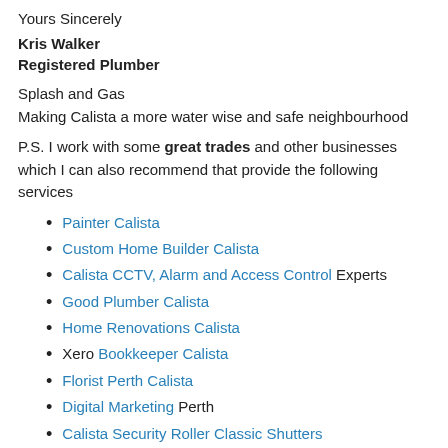Yours Sincerely
Kris Walker
Registered Plumber
Splash and Gas
Making Calista a more water wise and safe neighbourhood
P.S. I work with some great trades and other businesses which I can also recommend that provide the following services
Painter Calista
Custom Home Builder Calista
Calista CCTV, Alarm and Access Control Experts
Good Plumber Calista
Home Renovations Calista
Xero Bookkeeper Calista
Florist Perth Calista
Digital Marketing Perth
Calista Security Roller Classic Shutters
Hand Dryers service and Installation Calista
Jumping Castles